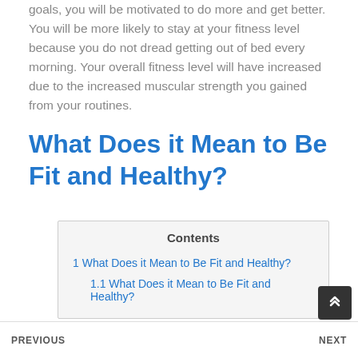goals, you will be motivated to do more and get better. You will be more likely to stay at your fitness level because you do not dread getting out of bed every morning. Your overall fitness level will have increased due to the increased muscular strength you gained from your routines.
What Does it Mean to Be Fit and Healthy?
| Contents |
| --- |
| 1 What Does it Mean to Be Fit and Healthy? |
| 1.1 What Does it Mean to Be Fit and Healthy? |
PREVIOUS    NEXT